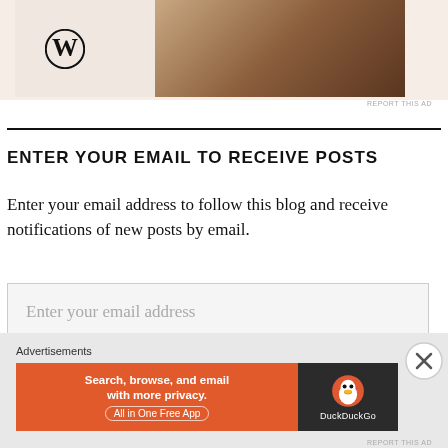[Figure (screenshot): Top portion of WordPress advertisement banner with WordPress logo on the left and a laptop/hands image on the right, against a beige background]
REPORT THIS AD
ENTER YOUR EMAIL TO RECEIVE POSTS
Enter your email address to follow this blog and receive notifications of new posts by email.
Enter your email address
FOLLOW
Advertisements
[Figure (screenshot): DuckDuckGo advertisement banner: orange left panel with text 'Search, browse, and email with more privacy. All in One Free App' and dark right panel with DuckDuckGo duck logo and name]
REPORT THIS AD